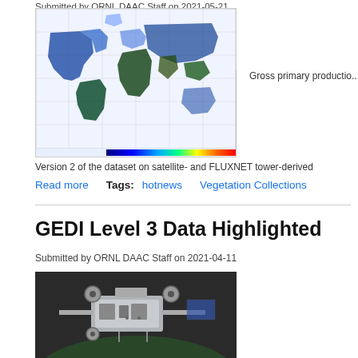Submitted by ORNL DAAC Staff on 2021-05-21
[Figure (map): World map showing gross primary productivity of biomass expressed in carbon with color scale from blue (low) to red (high)]
Gross primary productio...
Version 2 of the dataset on satellite- and FLUXNET tower-derived...
Read more   Tags:   hotnews   Vegetation Collections
GEDI Level 3 Data Highlighted
Submitted by ORNL DAAC Staff on 2021-04-11
[Figure (photo): Photo of GEDI lidar instrument hardware mounted in space/ISS setting]